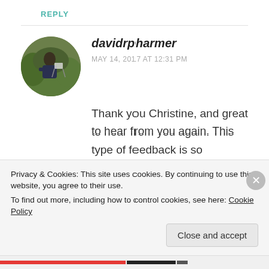REPLY
davidrpharmer
MAY 14, 2017 AT 12:31 PM
Thank you Christine, and great to hear from you again. This type of feedback is so encouraging. Many thanks
★ Like
Privacy & Cookies: This site uses cookies. By continuing to use this website, you agree to their use.
To find out more, including how to control cookies, see here: Cookie Policy
Close and accept